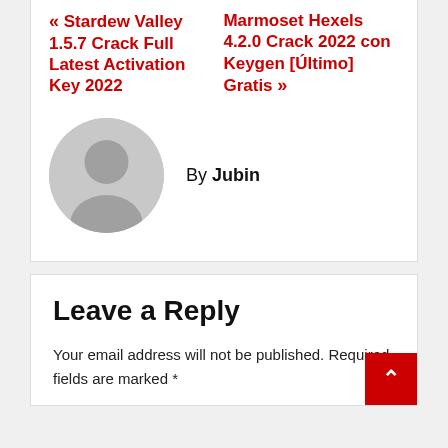« Stardew Valley 1.5.7 Crack Full Latest Activation Key 2022
Marmoset Hexels 4.2.0 Crack 2022 con Keygen [Último] Gratis »
By Jubin
Leave a Reply
Your email address will not be published. Required fields are marked *